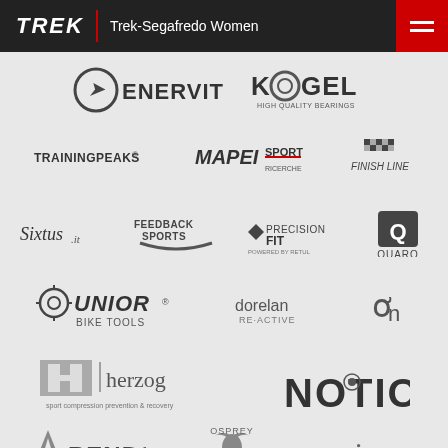TREK | Trek-Segafredo Women
[Figure (logo): Enervit logo]
[Figure (logo): Kogel High Quality Bearings logo]
[Figure (logo): TrainingPeaks logo]
[Figure (logo): Mapei Sport logo]
[Figure (logo): Finish Line logo]
[Figure (logo): Sixtus.it logo]
[Figure (logo): Feedback Sports logo]
[Figure (logo): PrecisionFit logo]
[Figure (logo): Quarq logo]
[Figure (logo): Unior Bike Tools logo]
[Figure (logo): Dorelan Re-Active logo]
[Figure (logo): On Running logo]
[Figure (logo): Herzog sport compression prevention & recovery logo]
[Figure (logo): Notio logo]
[Figure (logo): Bend36 logo]
[Figure (logo): Osprey logo]
[Figure (logo): Scicon logo]